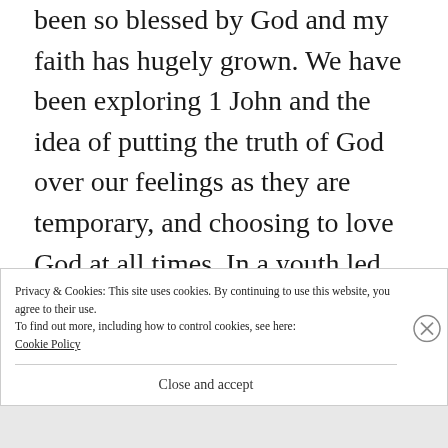been so blessed by God and my faith has hugely grown. We have been exploring 1 John and the idea of putting the truth of God over our feelings as they are temporary, and choosing to love God at all times. In a youth led service I had the opportunity to speak and I used Psalm 34:1-10 to explore how God will reward us if we choose to do right and love him
Privacy & Cookies: This site uses cookies. By continuing to use this website, you agree to their use.
To find out more, including how to control cookies, see here: Cookie Policy
Close and accept